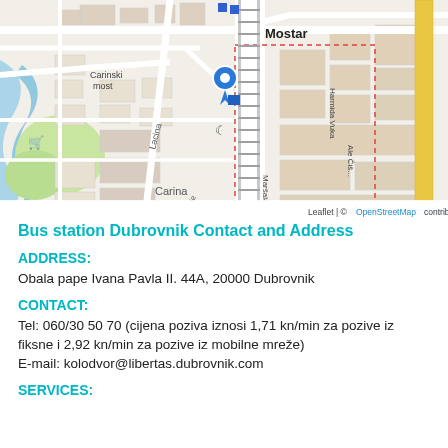[Figure (map): OpenStreetMap street map centered on Mostar bus station area, with a blue location pin marker. Shows streets including Lacina, Carina, Marsala Tita, Harmida Vuka, Carinski most. Attribution: Leaflet | © OpenStreetMap contributors.]
Bus station Dubrovnik Contact and Address
ADDRESS:
Obala pape Ivana Pavla II. 44A, 20000 Dubrovnik
CONTACT:
Tel: 060/30 50 70 (cijena poziva iznosi 1,71 kn/min za pozive iz fiksne i 2,92 kn/min za pozive iz mobilne mreže)
E-mail: kolodvor@libertas.dubrovnik.com
SERVICES: